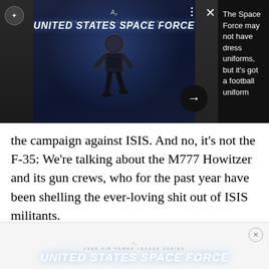[Figure (screenshot): Top banner showing United States Space Force football uniform card with dark blue/black background, football player figure, USSF logo text, dots menu icon, X close button, and right arrow button. Right side shows white text on black background.]
The Space Force may not have dress uniforms, but it's got a football uniform
the campaign against ISIS. And no, it's not the F-35: We're talking about the M777 Howitzer and its gun crews, who for the past year have been shelling the ever-loving shit out of ISIS militants.
[Figure (screenshot): Second United States Space Force football uniform promotional banner with dark background, AF logo, series text, and UNITED STATES SPACE FORCE title in large bold italic text.]
[Figure (screenshot): Advertisement banner at the bottom with light gray background and close (X) button in circle on the right.]